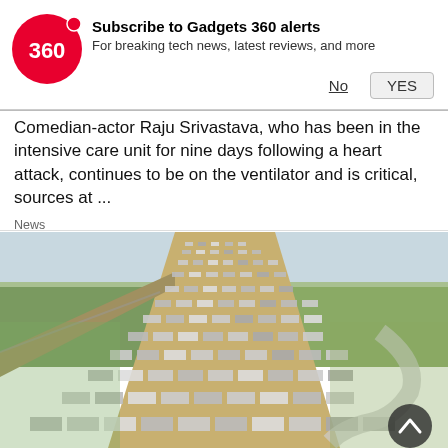[Figure (logo): Gadgets 360 red circle logo with '360' text]
Subscribe to Gadgets 360 alerts
For breaking tech news, latest reviews, and more
No   YES
Comedian-actor Raju Srivastava, who has been in the intensive care unit for nine days following a heart attack, continues to be on the ventilator and is critical, sources at …
News
[Figure (photo): Aerial view of a highway with a massive queue of cars/vehicles stretching into the distance, surrounded by green fields]